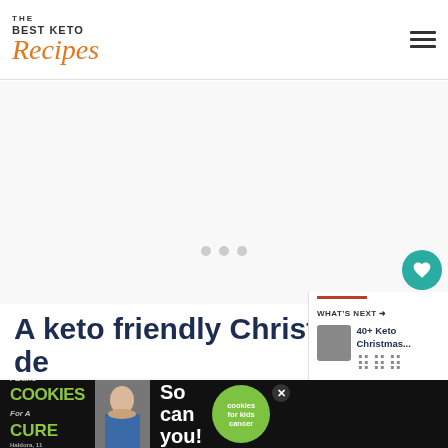The Best Keto Recipes
[Figure (other): Large white/grey blank content area with three loading dots (grey circles) in the center, indicating an image or ad loading placeholder]
A keto friendly Christmas de...
[Figure (screenshot): Bottom advertisement banner: 'I Bake COOKIES For A CURE' campaign with a photo of a girl, 'So can you!' text, cookies for kids cancer badge, and a close (x) button. Semi-transparent 'What's Next: 40+ Keto Christmas...' overlay on the right side.]